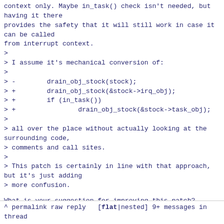context only. Maybe in_task() check isn't needed, but having it there
provides the safety that it will still work in case it can be called
from interrupt context.
>
> I assume it's mechanical conversion of:
>
> -        drain_obj_stock(stock);
> +        drain_obj_stock(&stock->irq_obj);
> +        if (in_task())
> +                drain_obj_stock(&stock->task_obj);
>
> all over the place without actually looking at the surrounding code,
> comments and call sites.
>
> This patch is certainly in line with that approach, but it's just adding
> more confusion.
What is your suggestion for improving this patch?
Cheers,
Longman
^ permalink raw reply   [flat|nested] 9+ messages in thread